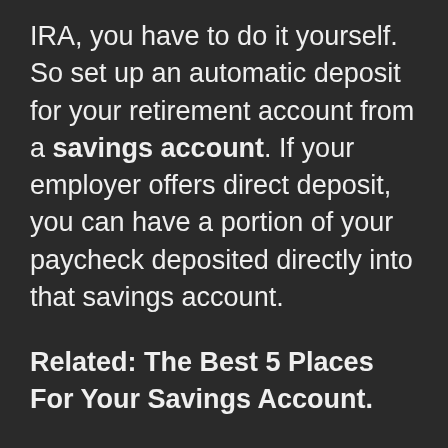IRA, you have to do it yourself. So set up an automatic deposit for your retirement account from a savings account. If your employer offers direct deposit, you can have a portion of your paycheck deposited directly into that savings account.
Related: The Best 5 Places For Your Savings Account.
Life expectancy
How long do you expect to live? Have